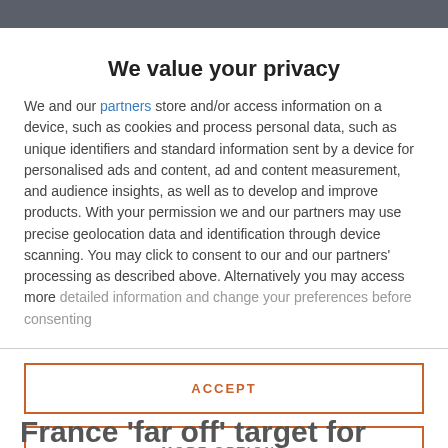We value your privacy
We and our partners store and/or access information on a device, such as cookies and process personal data, such as unique identifiers and standard information sent by a device for personalised ads and content, ad and content measurement, and audience insights, as well as to develop and improve products. With your permission we and our partners may use precise geolocation data and identification through device scanning. You may click to consent to our and our partners' processing as described above. Alternatively you may access more detailed information and change your preferences before consenting
ACCEPT
MORE OPTIONS
France 'far off' target for